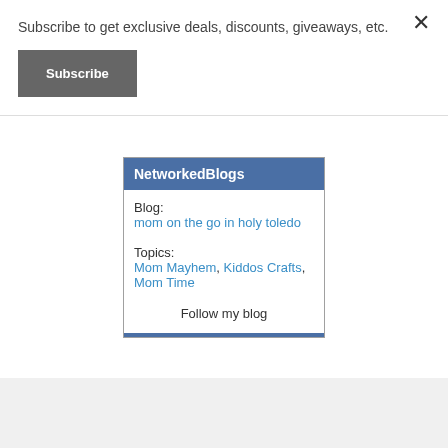×
Subscribe to get exclusive deals, discounts, giveaways, etc.
Subscribe
[Figure (screenshot): NetworkedBlogs widget showing Blog: mom on the go in holy toledo, Topics: Mom Mayhem, Kiddos Crafts, Mom Time, and a Follow my blog link]
[Figure (logo): Jetpack advertisement banner with green background and Jetpack logo]
Advertisements